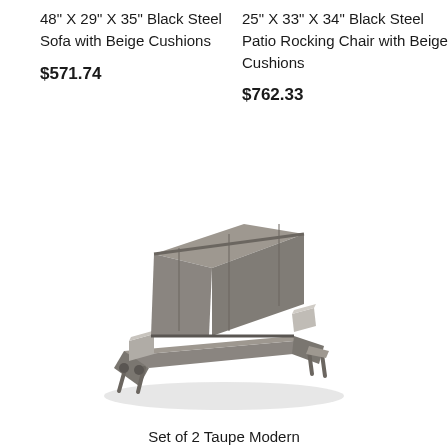48" X 29" X 35" Black Steel Sofa with Beige Cushions
$571.74
25" X 33" X 34" Black Steel Patio Rocking Chair with Beige Cushions
$762.33
[Figure (photo): Taupe modern outdoor chaise lounge chair with sling fabric and aluminum frame, angled view]
Set of 2 Taupe Modern